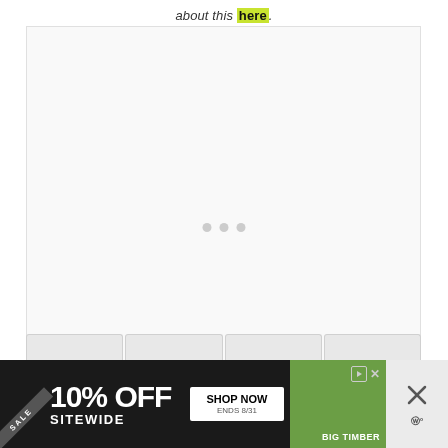about this here
[Figure (screenshot): A large empty/loading content area with a light gray background, showing three small gray loading indicator dots in the center]
[Figure (infographic): Advertisement banner: SALE 10% OFF SITEWIDE, SHOP NOW, ENDS 8/31, BIG TIMBER brand, with photo of a wooden gazebo, close/skip controls on the right]